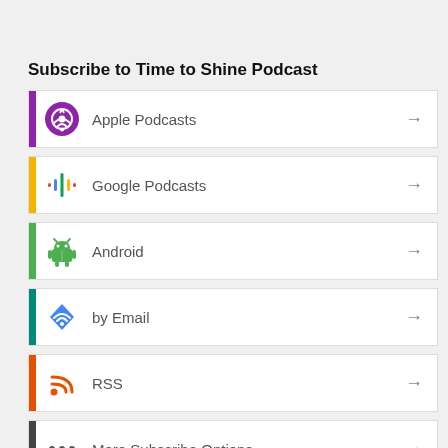Subscribe to Time to Shine Podcast
Apple Podcasts
Google Podcasts
Android
by Email
RSS
More Subscribe Options